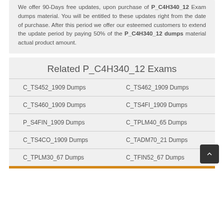We offer 90-Days free updates, upon purchase of P_C4H340_12 Exam dumps material. You will be entitled to these updates right from the date of purchase. After this period we offer our esteemed customers to extend the update period by paying 50% of the P_C4H340_12 dumps material actual product amount.
Related P_C4H340_12 Exams
C_TS452_1909 Dumps
C_TS462_1909 Dumps
C_TS460_1909 Dumps
C_TS4FI_1909 Dumps
P_S4FIN_1909 Dumps
C_TPLM40_65 Dumps
C_TS4CO_1909 Dumps
C_TADM70_21 Dumps
C_TPLM30_67 Dumps
C_TFIN52_67 Dumps